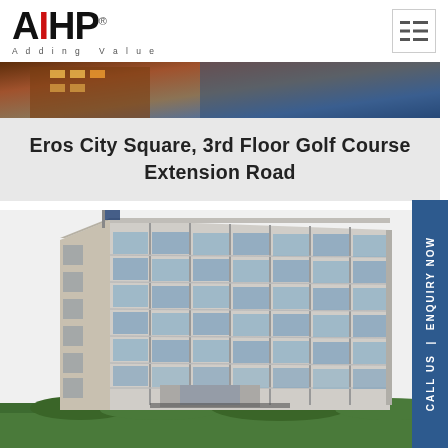[Figure (logo): AIHP logo with red I, black A and HP, registered trademark symbol, tagline 'Adding Value']
[Figure (other): Hamburger/list menu icon in a bordered box]
[Figure (photo): Banner photo of a building exterior at night with warm lighting]
Eros City Square, 3rd Floor Golf Course Extension Road
[Figure (photo): Photo of Eros City Square building exterior - modern glass facade multi-storey commercial building with vertical glass panels and concrete framing, surrounded by greenery]
CALL US | ENQUIRY NOW